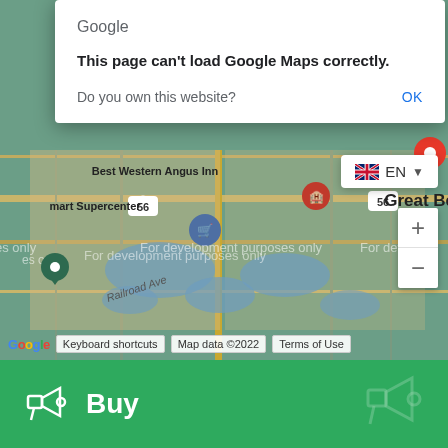[Figure (screenshot): Google Maps screenshot showing Great Bend area with 'This page can't load Google Maps correctly' dialog overlay, development watermark, zoom controls, and map attribution bar with 'Keyboard shortcuts', 'Map data ©2022', 'Terms of Use' buttons.]
Buy